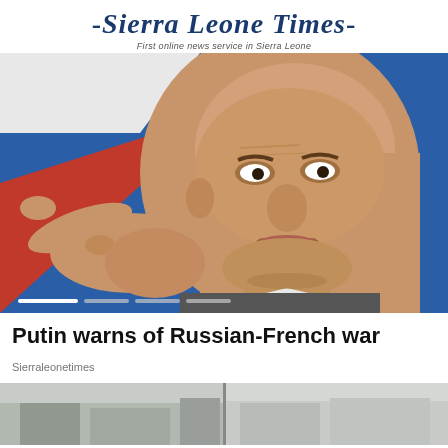-Sierra Leone Times- First online news service in Sierra Leone
[Figure (photo): Vladimir Putin pointing finger, with Russian flag in background, close-up portrait photo]
Putin warns of Russian-French war
Sierraleonetimes
[Figure (photo): Partially visible second article image at bottom of page, showing a building or outdoor scene]